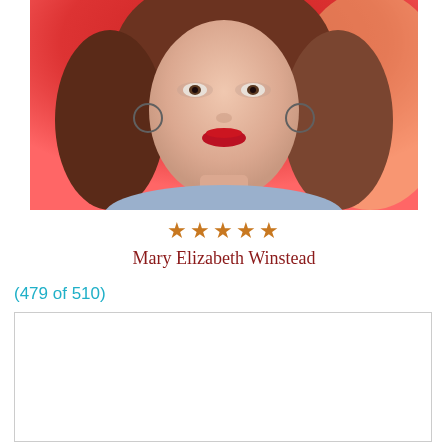[Figure (photo): Portrait photo of Mary Elizabeth Winstead, a woman with wavy brown hair, red lips, and hoop earrings, against a red background]
★★★★★
Mary Elizabeth Winstead
(479 of 510)